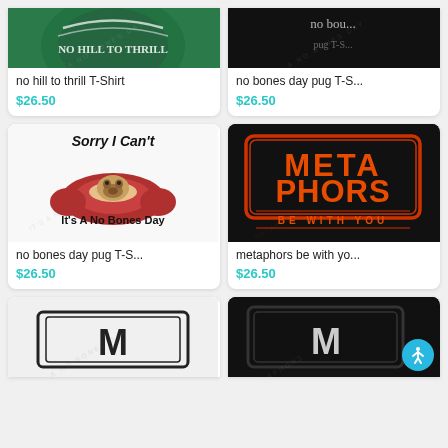[Figure (photo): Green background t-shirt product image for 'no hill to thrill' top portion]
no hill to thrill T-Shirt
$26.50
[Figure (photo): Black background t-shirt product image for 'no bones day pug' top portion]
no bones day pug T-S...
$26.50
[Figure (illustration): White background illustration: pug lying in red dog bed with text 'Sorry I Can't It's A No Bones Day']
no bones day pug T-S...
$26.50
[Figure (illustration): Black background with orange Star Wars-style text reading 'META PHORS BE WITH YOU']
metaphors be with yo...
$26.50
[Figure (photo): Bottom partial card image on left, white background with partial letter M visible]
[Figure (photo): Bottom partial card image on right, black background with partial letter M and accessibility button visible]